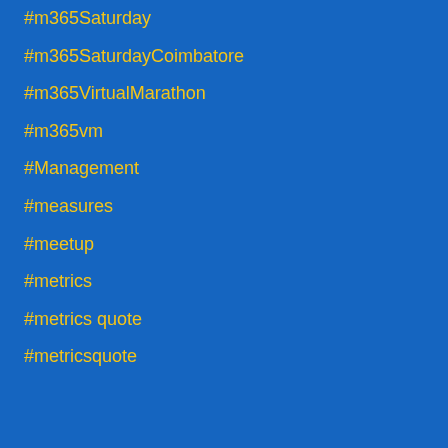#m365Saturday
#m365SaturdayCoimbatore
#m365VirtualMarathon
#m365vm
#Management
#measures
#meetup
#metrics
#metrics quote
#metricsquote